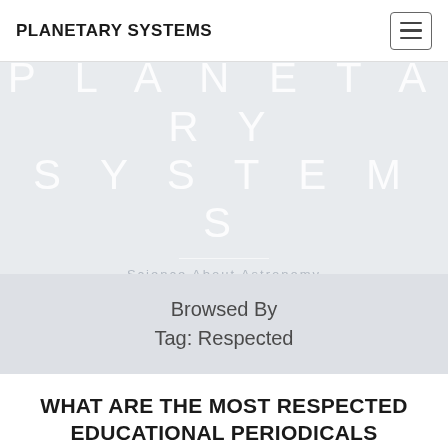PLANETARY SYSTEMS
PLANETARY SYSTEMS
Science About Astronomy
Browsed By Tag: Respected
WHAT ARE THE MOST RESPECTED EDUCATIONAL PERIODICALS